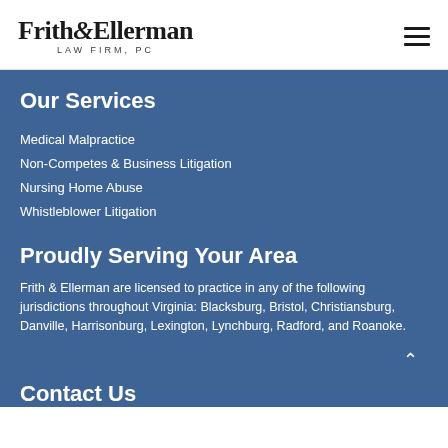Frith & Ellerman LAW FIRM, PC
Our Services
Medical Malpractice
Non-Competes & Business Litigation
Nursing Home Abuse
Whistleblower Litigation
Proudly Serving Your Area
Frith & Ellerman are licensed to practice in any of the following jurisdictions throughout Virginia: Blacksburg, Bristol, Christiansburg, Danville, Harrisonburg, Lexington, Lynchburg, Radford, and Roanoke.
Contact Us